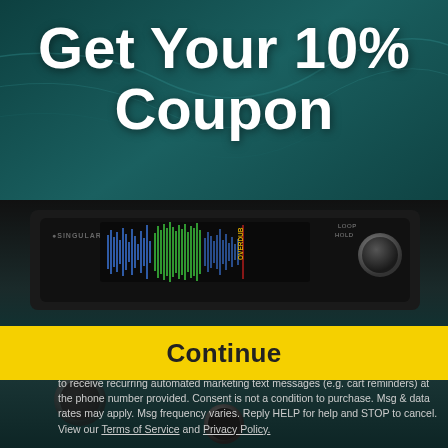[Figure (photo): Background photo of a dark electronic audio device (looper pedal) with a waveform display screen showing blue and green audio waveforms, against a teal gradient background]
Get Your 10% Coupon
1 ▾ |
to receive recurring automated marketing text messages (e.g. cart reminders) at the phone number provided. Consent is not a condition to purchase. Msg & data rates may apply. Msg frequency varies. Reply HELP for help and STOP to cancel. View our Terms of Service and Privacy Policy.
Continue